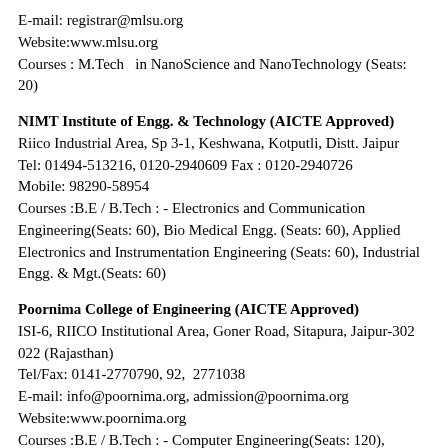E-mail: registrar@mlsu.org
Website:www.mlsu.org
Courses : M.Tech  in NanoScience and NanoTechnology (Seats: 20)
NIMT Institute of Engg. & Technology (AICTE Approved)
Riico Industrial Area, Sp 3-1, Keshwana, Kotputli, Distt. Jaipur
Tel: 01494-513216, 0120-2940609 Fax : 0120-2940726
Mobile: 98290-58954
Courses :B.E / B.Tech : - Electronics and Communication Engineering(Seats: 60), Bio Medical Engg. (Seats: 60), Applied Electronics and Instrumentation Engineering (Seats: 60), Industrial Engg. & Mgt.(Seats: 60)
Poornima College of Engineering (AICTE Approved)
ISI-6, RIICO Institutional Area, Goner Road, Sitapura, Jaipur-302 022 (Rajasthan)
Tel/Fax: 0141-2770790, 92,  2771038
E-mail: info@poornima.org, admission@poornima.org
Website:www.poornima.org
Courses :B.E / B.Tech : - Computer Engineering(Seats: 120), Electrical Engineering(Seats: 30), Electronics and Communication Engineering(Seats: 120), Electronics & Control